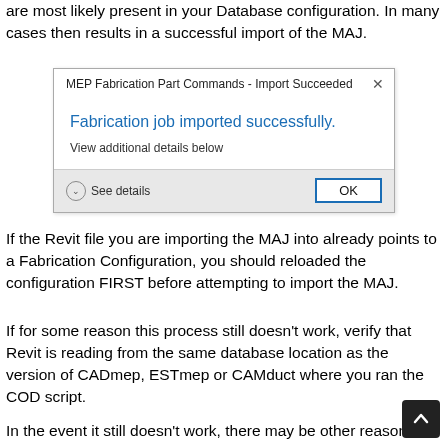are most likely present in your Database configuration. In many cases then results in a successful import of the MAJ.
[Figure (screenshot): Windows dialog box titled 'MEP Fabrication Part Commands - Import Succeeded' showing 'Fabrication job imported successfully.' in blue text, 'View additional details below' in gray, a 'See details' button with chevron, and an OK button.]
If the Revit file you are importing the MAJ into already points to a Fabrication Configuration, you should reloaded the configuration FIRST before attempting to import the MAJ.
If for some reason this process still doesn't work, verify that Revit is reading from the same database location as the version of CADmep, ESTmep or CAMduct where you ran the COD script.
In the event it still doesn't work, there may be other reasons for